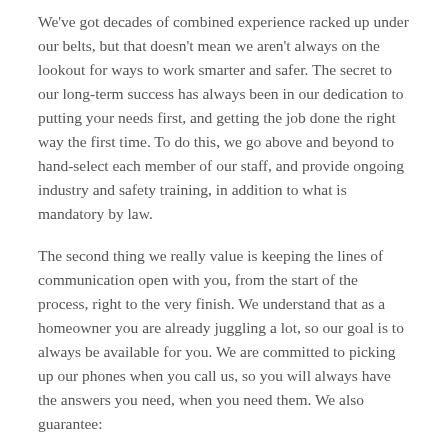We've got decades of combined experience racked up under our belts, but that doesn't mean we aren't always on the lookout for ways to work smarter and safer. The secret to our long-term success has always been in our dedication to putting your needs first, and getting the job done the right way the first time. To do this, we go above and beyond to hand-select each member of our staff, and provide ongoing industry and safety training, in addition to what is mandatory by law.
The second thing we really value is keeping the lines of communication open with you, from the start of the process, right to the very finish. We understand that as a homeowner you are already juggling a lot, so our goal is to always be available for you. We are committed to picking up our phones when you call us, so you will always have the answers you need, when you need them. We also guarantee: